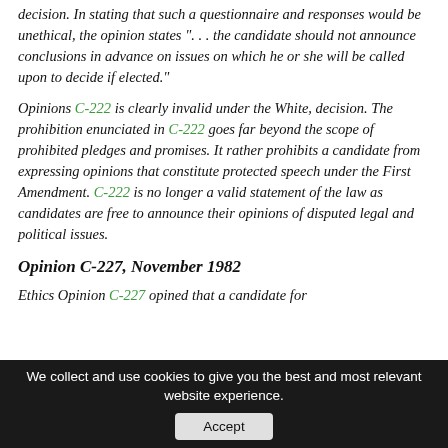decision. In stating that such a questionnaire and responses would be unethical, the opinion states ". . . the candidate should not announce conclusions in advance on issues on which he or she will be called upon to decide if elected."
Opinions C-222 is clearly invalid under the White, decision. The prohibition enunciated in C-222 goes far beyond the scope of prohibited pledges and promises. It rather prohibits a candidate from expressing opinions that constitute protected speech under the First Amendment. C-222 is no longer a valid statement of the law as candidates are free to announce their opinions of disputed legal and political issues.
Opinion C-227, November 1982
Ethics Opinion C-227 opined that a candidate for
We collect and use cookies to give you the best and most relevant website experience.